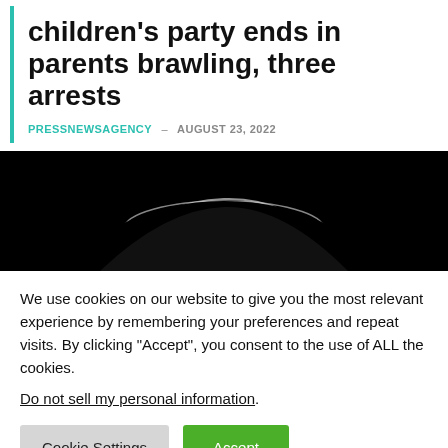children's party ends in parents brawling, three arrests
PRESSNEWSAGENCY – AUGUST 23, 2022
[Figure (photo): Black and white close-up photo showing the top of a person's head with white/grey hair against a dark black background]
We use cookies on our website to give you the most relevant experience by remembering your preferences and repeat visits. By clicking “Accept”, you consent to the use of ALL the cookies.
Do not sell my personal information.
Cookie Settings  Accept